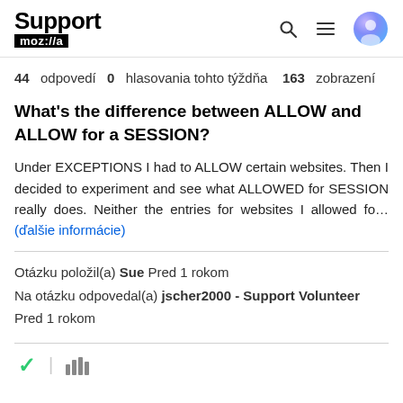Support mozilla
44 odpovedí  0  hlasovania tohto týždňa  163  zobrazení
What's the difference between ALLOW and ALLOW for a SESSION?
Under EXCEPTIONS I had to ALLOW certain websites. Then I decided to experiment and see what ALLOWED for SESSION really does. Neither the entries for websites I allowed fo... (ďalšie informácie)
Otázku položil(a) Sue Pred 1 rokom
Na otázku odpovedal(a) jscher2000 - Support Volunteer
Pred 1 rokom